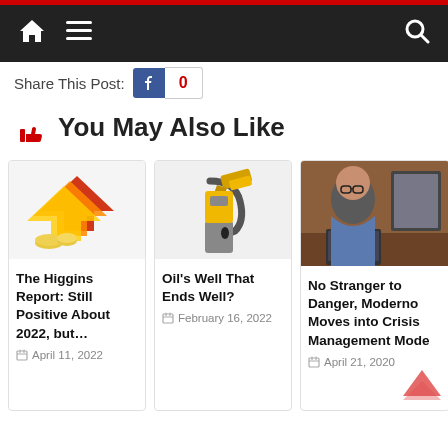Navigation bar with home icon, menu icon, and search icon
Share This Post: [Facebook] 0
👍 You May Also Like
[Figure (photo): Thumbnail image of upward red arrow with money/coins - article thumbnail]
The Higgins Report: Still Positive About 2022, but…
April 11, 2022
[Figure (photo): Thumbnail image of a yellow gas pump nozzle]
Oil's Well That Ends Well?
February 16, 2022
[Figure (photo): Thumbnail photo of a bald man with glasses working on a laptop]
No Stranger to Danger, Moderno Moves into Crisis Management Mode
April 21, 2020